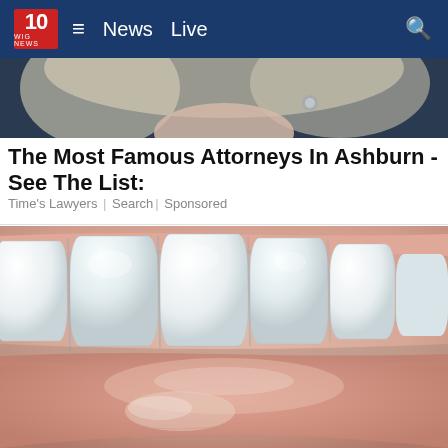10 WIG NEWS  ≡  News  Live  🔍
[Figure (photo): Partial face of a blonde woman with silver earrings, cropped to show lower face/chin area only, on dark background]
The Most Famous Attorneys In Ashburn - See The List:
Time's Lawyers | Search | Sponsored
[Figure (photo): Close-up macro photo of white teeth and lips, showing upper front teeth and part of lower lip in pink/flesh tones]